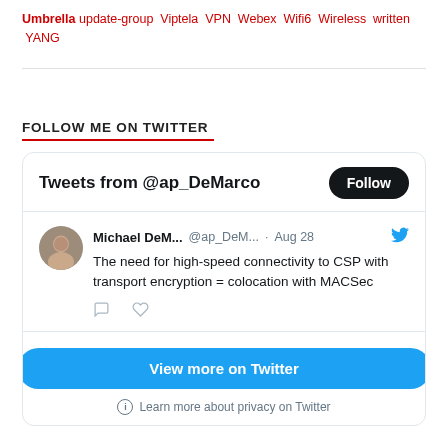Umbrella update-group Viptela VPN Webex Wifi6 Wireless written YANG
FOLLOW ME ON TWITTER
[Figure (screenshot): Twitter widget showing tweets from @ap_DeMarco with a tweet by Michael DeM... (@ap_DeM...) from Aug 28: 'The need for high-speed connectivity to CSP with transport encryption = colocation with MACSec'. Includes Follow button, comment and like icons, 'View more on Twitter' button, and 'Learn more about privacy on Twitter' link.]